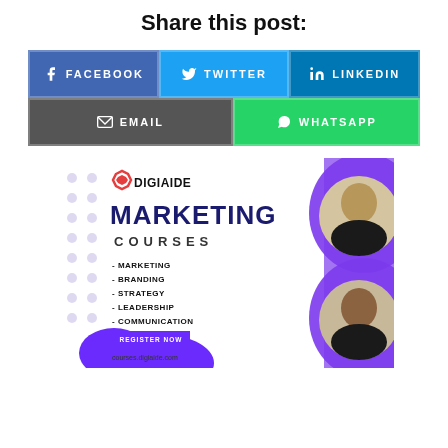Share this post:
[Figure (infographic): Social share buttons: Facebook, Twitter, LinkedIn, Email, WhatsApp]
[Figure (infographic): DigiAide Marketing Courses advertisement banner with two person photos, listing Marketing, Branding, Strategy, Leadership, Communication courses and Register Now button]